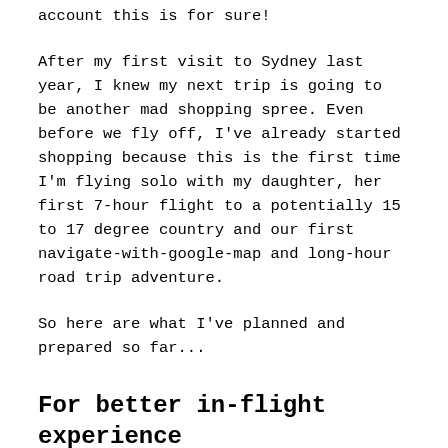account this is for sure!
After my first visit to Sydney last year, I knew my next trip is going to be another mad shopping spree. Even before we fly off, I've already started shopping because this is the first time I'm flying solo with my daughter, her first 7-hour flight to a potentially 15 to 17 degree country and our first navigate-with-google-map and long-hour road trip adventure.
So here are what I've planned and prepared so far...
For better in-flight experience
To ensure Ayra is comfortable and be able to sleep through the redeye flight to Sydney, I've gotten the